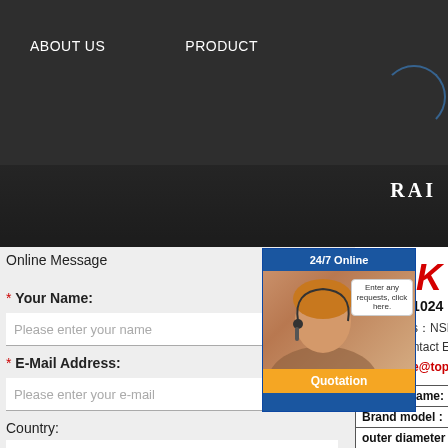ABOUT US   PRODUCT
Online Message
* Your Name:
Please enter your name
* E-Mail Address:
Please enter your e-mail
Country:
[Figure (logo): NSK logo in red italic bold text]
NSK QJ1024 b...
Categories：NSK bear...
Please contact Email for any inqu...
EMAIl: sale@topbearing-sa...
| bearing name: |
| Brand model : |
| outer diameter D : |
| diameter d : |
| thickness B : |
[Figure (photo): Customer service representative chat widget with 24/7 Online label, photo of woman with headset, speech bubble saying 'Enter any requests, click here.', and orange Quotation button]